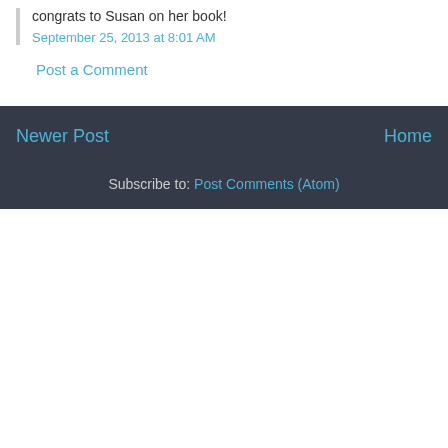congrats to Susan on her book!
September 25, 2013 at 8:01 AM
Post a Comment
Newer Post
Home
Subscribe to: Post Comments (Atom)